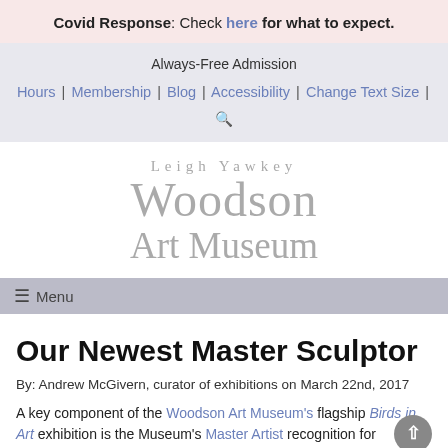Covid Response: Check here for what to expect.
Always-Free Admission
Hours | Membership | Blog | Accessibility | Change Text Size | 🔍
[Figure (logo): Leigh Yawkey Woodson Art Museum logo in gray serif text]
≡ Menu
Our Newest Master Sculptor
By: Andrew McGivern, curator of exhibitions on March 22nd, 2017
A key component of the Woodson Art Museum's flagship Birds in Art exhibition is the Museum's Master Artist recognition for